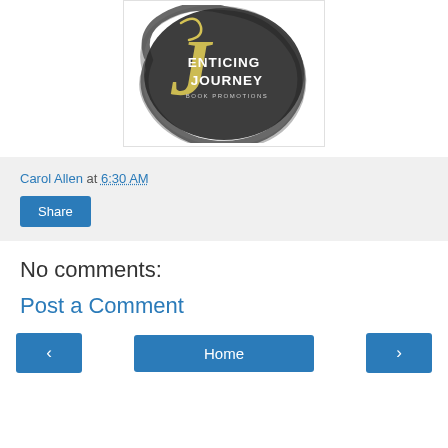[Figure (logo): Enticing Journey Book Promotions logo — circular dark brushstroke background with stylized gold 'J' and white text reading ENTICING JOURNEY BOOK PROMOTIONS]
Carol Allen at 6:30 AM
Share
No comments:
Post a Comment
Home